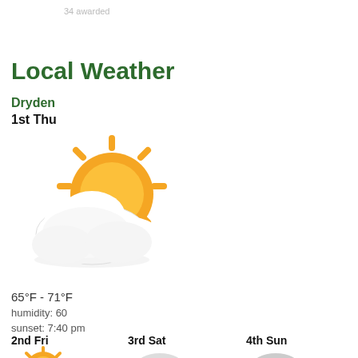34 awarded
Local Weather
Dryden
1st Thu
[Figure (illustration): Partly cloudy weather icon with sun behind clouds]
65°F - 71°F
humidity: 60
sunset: 7:40 pm
2nd Fri
[Figure (illustration): Sunny weather icon]
50°F - 78°F
3rd Sat
[Figure (illustration): Rain/shower weather icon]
57°F - 82°F
4th Sun
[Figure (illustration): Rain/shower weather icon]
66°F - 80°F